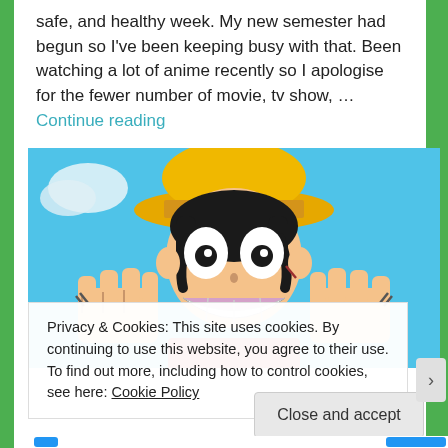safe, and healthy week. My new semester had begun so I've been keeping busy with that. Been watching a lot of anime recently so I apologise for the fewer number of movie, tv show, … Continue reading
[Figure (illustration): Anime illustration of a grinning character with black hair and a yellow straw hat, shown from the chest up with hands raised, set against a blue sky background. The character wears a red outfit and has a wide toothy smile.]
Privacy & Cookies: This site uses cookies. By continuing to use this website, you agree to their use.
To find out more, including how to control cookies, see here: Cookie Policy